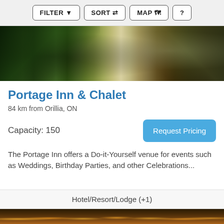FILTER  SORT  MAP  ?
[Figure (photo): Outdoor photo of Portage Inn & Chalet showing garden entrance with iron fence and green foliage on left, and lawn chairs on grass near wooden fence on right]
Portage Inn & Chalet
84 km from Orillia, ON
Capacity: 150
Request Pricing
The Portage Inn offers a Do-it-Yourself venue for events such as Weddings, Birthday Parties, and other Celebrations...
Hotel/Resort/Lodge (+1)
[Figure (photo): Interior venue photo showing warm string lights draped in arcs across the ceiling with golden/amber glow]